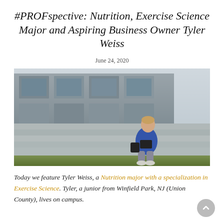#PROFspective: Nutrition, Exercise Science Major and Aspiring Business Owner Tyler Weiss
June 24, 2020
[Figure (photo): A young male student in a blue hoodie and grey pants sits on concrete steps/bleachers outside a modern grey building, reading from a tablet. A backpack rests beside him. Green grass is visible in the foreground.]
Today we feature Tyler Weiss, a Nutrition major with a specialization in Exercise Science. Tyler, a junior from Winfield Park, NJ (Union County), lives on campus.